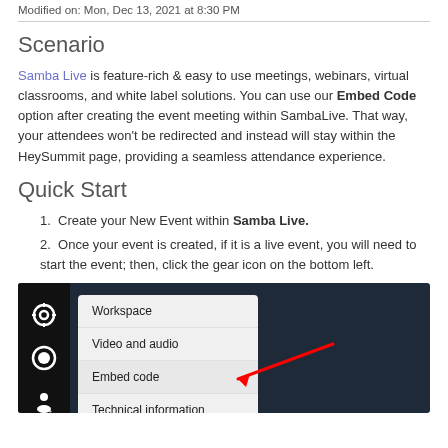Modified on: Mon, Dec 13, 2021 at 8:30 PM
Scenario
Samba Live is feature-rich & easy to use meetings, webinars, virtual classrooms, and white label solutions. You can use our Embed Code option after creating the event meeting within SambaLive. That way, your attendees won't be redirected and instead will stay within the HeySummit page, providing a seamless attendance experience.
Quick Start
Create your New Event within Samba Live.
Once your event is created, if it is a live event, you will need to start the event; then, click the gear icon on the bottom left.
[Figure (screenshot): Screenshot of Samba Live interface showing a dark background with a left panel containing icons, and an open dropdown menu with options: Workspace, Video and audio, Embed code (highlighted with a red arrow), and Technical information.]